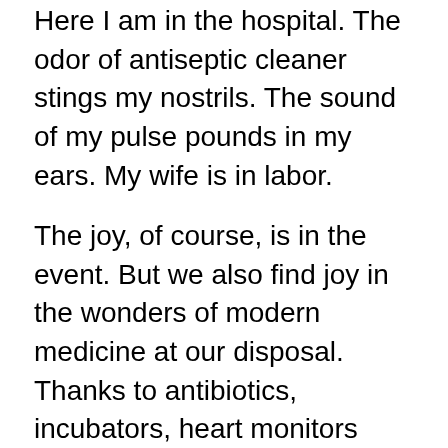Here I am in the hospital. The odor of antiseptic cleaner stings my nostrils. The sound of my pulse pounds in my ears. My wife is in labor.
The joy, of course, is in the event. But we also find joy in the wonders of modern medicine at our disposal. Thanks to antibiotics, incubators, heart monitors (one for mom and one for baby), and a host of other incredible devices, my wife and child are both very likely to come out of this alive and well.
But to listen to some people, it would seem that all this medical technology and material progress has some kind of dark side. It's corrupting, or immoral, or maybe